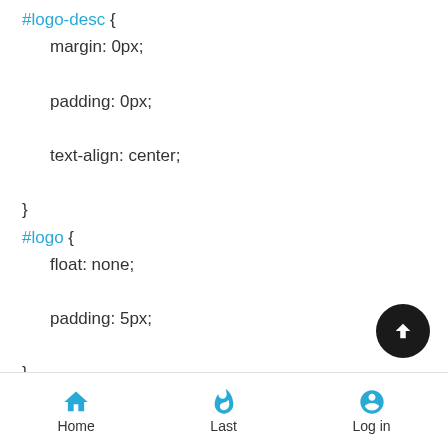#logo-desc {
    margin: 0px;
    padding: 0px;
    text-align: center;
}
#logo {
    float: none;
    padding: 5px;
}
a#logo:hover {
    text-decoration: none;
}
#site-title,#site-title h1 {
    font-family: ;
    color: #;
    font-size: 20px;
    font-weight: bold;
    padding-top: 15px;
Home | Last | Log in